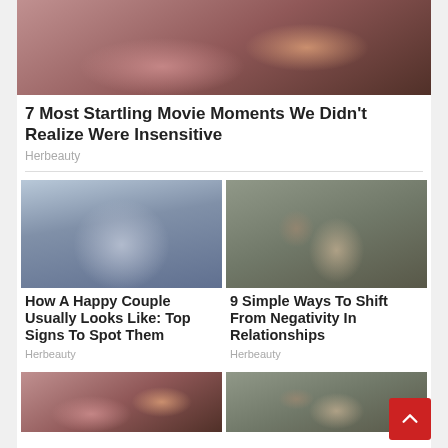[Figure (photo): Movie scene with romantic/birthday setting, woman in pink dress and man near candles]
7 Most Startling Movie Moments We Didn't Realize Were Insensitive
Herbeauty
[Figure (photo): Happy couple lying on couch together looking up]
How A Happy Couple Usually Looks Like: Top Signs To Spot Them
Herbeauty
[Figure (photo): Woman with tattoos holding a baby outdoors]
9 Simple Ways To Shift From Negativity In Relationships
Herbeauty
[Figure (photo): Movie scene thumbnail - bottom left]
[Figure (photo): Article thumbnail - bottom right]